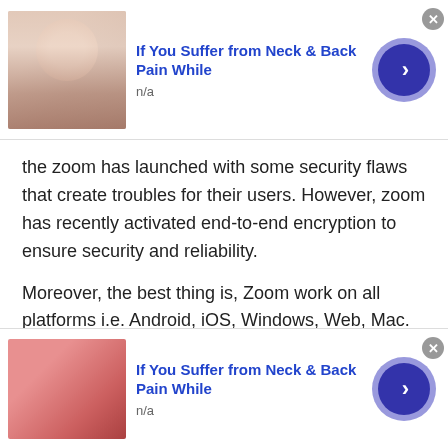[Figure (infographic): Advertisement banner at top: image of woman with neck pain, title 'If You Suffer from Neck & Back Pain While', subtitle 'n/a', blue arrow button, close X button]
the zoom has launched with some security flaws that create troubles for their users. However, zoom has recently activated end-to-end encryption to ensure security and reliability.
Moreover, the best thing is, Zoom work on all platforms i.e. Android, iOS, Windows, Web, Mac.
Skype
Well, Skype is available for free on all platforms. It
[Figure (infographic): Advertisement banner at bottom: image of woman with neck pain in red top, title 'If You Suffer from Neck & Back Pain While', subtitle 'n/a', blue arrow button, close X button]